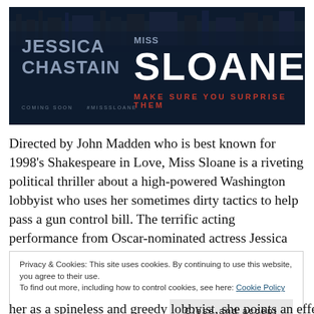[Figure (photo): Movie poster for Miss Sloane featuring Jessica Chastain. Dark blue/navy background with Washington DC buildings silhouette. Text reads: JESSICA CHASTAIN MISS SLOANE MAKE SURE YOU SURPRISE THEM. COMING SOON #MissSloane]
Directed by John Madden who is best known for 1998’s Shakespeare in Love, Miss Sloane is a riveting political thriller about a high-powered Washington lobbyist who uses her sometimes dirty tactics to help pass a gun control bill. The terrific acting performance from Oscar-nominated actress Jessica Chastain is really what makes
Privacy & Cookies: This site uses cookies. By continuing to use this website, you agree to their use.
To find out more, including how to control cookies, see here: Cookie Policy
Close and accept
her as a spineless and greedy lobbyist, she points an effe